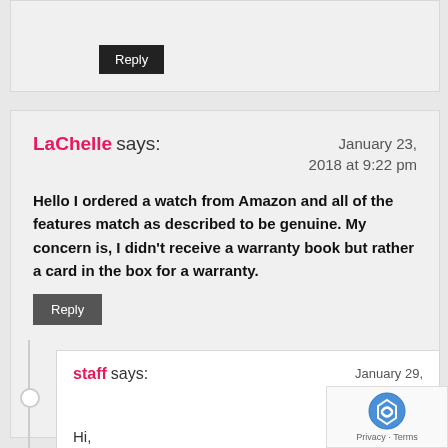Reply
LaChelle says:
January 23, 2018 at 9:22 pm
Hello I ordered a watch from Amazon and all of the features match as described to be genuine. My concern is, I didn't receive a warranty book but rather a card in the box for a warranty.
Reply
staff says:
January 29, 2018 at 8:
Hi,